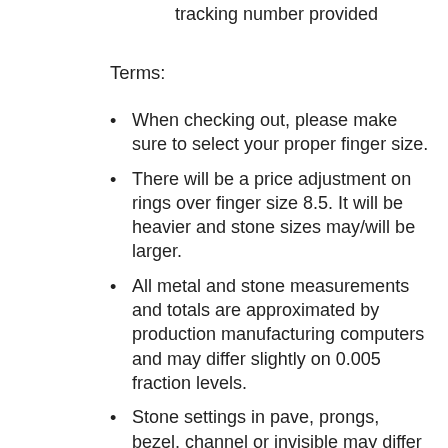tracking number provided
Terms:
When checking out, please make sure to select your proper finger size.
There will be a price adjustment on rings over finger size 8.5. It will be heavier and stone sizes may/will be larger.
All metal and stone measurements and totals are approximated by production manufacturing computers and may differ slightly on 0.005 fraction levels.
Stone settings in pave, prongs, bezel, channel or invisible may differ slightly from an image as the stones are set by a master hand.
All jewelry images are professional catalog renderings generated by production imaging computer in 3d and are not real photographs.
Visual perceptions of images may differ slightly from monitor type and resolution.
For detailed information on shipping, order